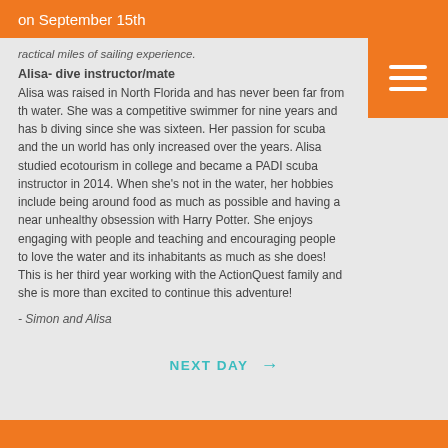on September 15th
ractical miles of sailing experience.
Alisa- dive instructor/mate
Alisa was raised in North Florida and has never been far from the water. She was a competitive swimmer for nine years and has been diving since she was sixteen. Her passion for scuba and the underwater world has only increased over the years. Alisa studied ecotourism in college and became a PADI scuba instructor in 2014. When she's not in the water, her hobbies include being around food as much as possible and having a near unhealthy obsession with Harry Potter. She enjoys engaging with people and teaching and encouraging people to love the water and its inhabitants as much as she does! This is her third year working with the ActionQuest family and she is more than excited to continue this adventure!
- Simon and Alisa